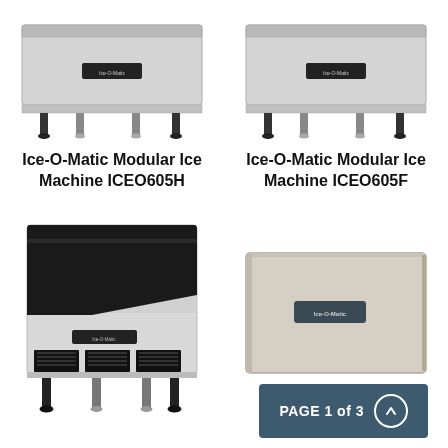[Figure (photo): Ice-O-Matic Modular Ice Machine ICEO605H - top/modular unit with ice bin, stainless steel, black legs]
[Figure (photo): Ice-O-Matic Modular Ice Machine ICEO605F - top/modular unit with ice bin, stainless steel, black legs]
Ice-O-Matic Modular Ice Machine ICEO605H
Ice-O-Matic Modular Ice Machine ICEO605F
[Figure (photo): Ice-O-Matic self-contained undercounter ice machine with built-in bin, stainless steel front, black ventilation grilles, black legs]
[Figure (photo): Ice-O-Matic modular ice machine head unit, stainless steel box with Ice-O-Matic logo badge]
PAGE 1 of 3